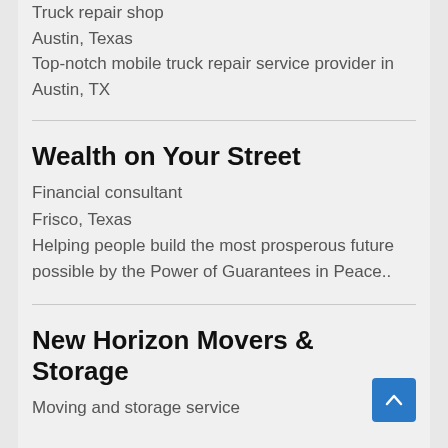Truck repair shop
Austin, Texas
Top-notch mobile truck repair service provider in Austin, TX
Wealth on Your Street
Financial consultant
Frisco, Texas
Helping people build the most prosperous future possible by the Power of Guarantees in Peace..
New Horizon Movers & Storage
Moving and storage service